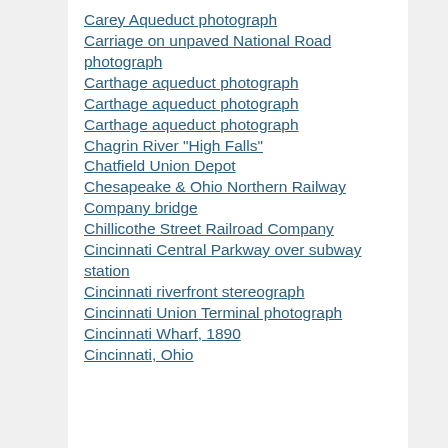Carey Aqueduct photograph
Carriage on unpaved National Road photograph
Carthage aqueduct photograph
Carthage aqueduct photograph
Carthage aqueduct photograph
Chagrin River "High Falls"
Chatfield Union Depot
Chesapeake & Ohio Northern Railway Company bridge
Chillicothe Street Railroad Company
Cincinnati Central Parkway over subway station
Cincinnati riverfront stereograph
Cincinnati Union Terminal photograph
Cincinnati Wharf, 1890
Cincinnati, Ohio